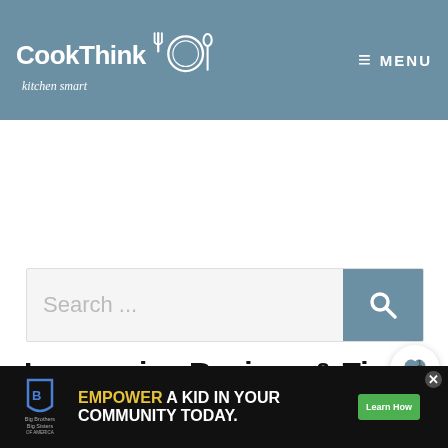CookThink kitchen smart — MENU
[Figure (screenshot): White advertisement space below header]
[Figure (screenshot): Search bar with placeholder text 'Search ...' and a blue-grey search button]
Impressive Recipes & Tips for the Home Cook
Welcome to CookThink! Here you'll find impressive recipes for the home cook. That's you! Learn cooking skills, make beautiful... in the
[Figure (screenshot): WHAT'S NEXT panel: Best Cheese for Grilled...]
[Figure (screenshot): Bottom advertisement banner: Big Brothers Big Sisters of America — EMPOWER A KID IN YOUR COMMUNITY TODAY. Learn How]